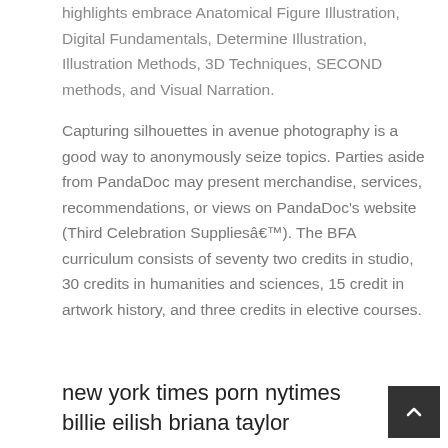highlights embrace Anatomical Figure Illustration, Digital Fundamentals, Determine Illustration, Illustration Methods, 3D Techniques, SECOND methods, and Visual Narration.
Capturing silhouettes in avenue photography is a good way to anonymously seize topics. Parties aside from PandaDoc may present merchandise, services, recommendations, or views on PandaDoc's website (Third Celebration Suppliesâ€™). The BFA curriculum consists of seventy two credits in studio, 30 credits in humanities and sciences, 15 credit in artwork history, and three credits in elective courses.
new york times porn nytimes billie eilish briana taylor